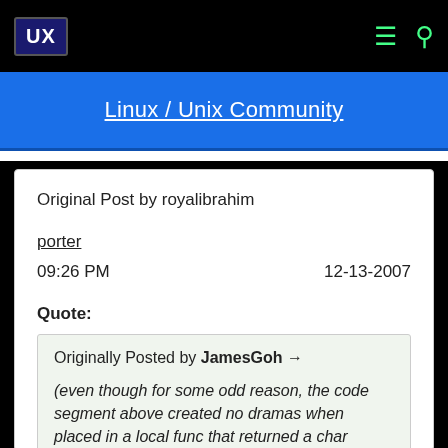UX
Linux / Unix Community
Original Post by royalibrahim
porter
09:26 PM   12-13-2007
Quote:
Originally Posted by JamesGoh →
(even though for some odd reason, the code segment above created no dramas when placed in a local func that returned a char